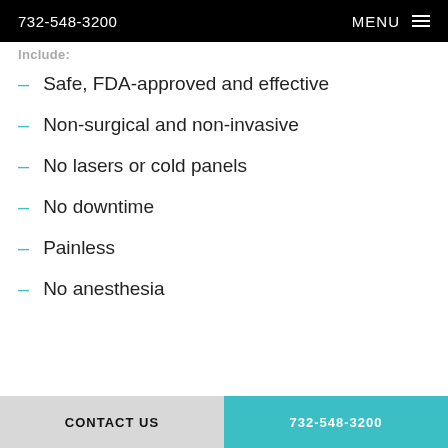732-548-3200   MENU
Include:
Safe, FDA-approved and effective
Non-surgical and non-invasive
No lasers or cold panels
No downtime
Painless
No anesthesia
CONTACT US   732-548-3200